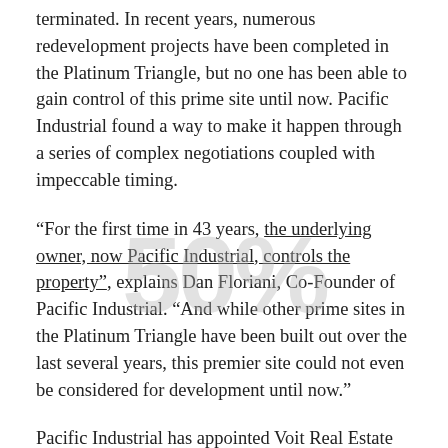terminated. In recent years, numerous redevelopment projects have been completed in the Platinum Triangle, but no one has been able to gain control of this prime site until now. Pacific Industrial found a way to make it happen through a series of complex negotiations coupled with impeccable timing.
"For the first time in 43 years, the underlying owner, now Pacific Industrial, controls the property", explains Dan Floriani, Co-Founder of Pacific Industrial. "And while other prime sites in the Platinum Triangle have been built out over the last several years, this premier site could not even be considered for development until now."
Pacific Industrial has appointed Voit Real Estate Services as its exclusive agent for the property. "We are really excited to see what type of companies we